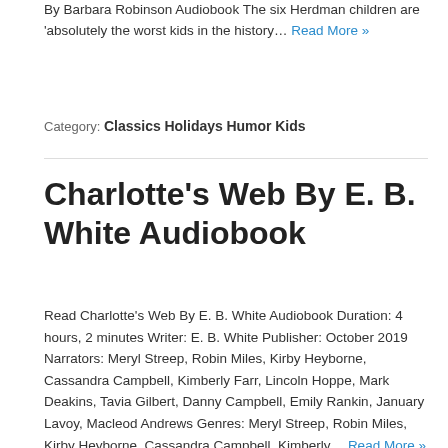By Barbara Robinson Audiobook The six Herdman children are 'absolutely the worst kids in the history… Read More »
Category: Classics, Holidays, Humor, Kids
Charlotte's Web By E. B. White Audiobook
Read Charlotte's Web By E. B. White Audiobook Duration: 4 hours, 2 minutes Writer: E. B. White Publisher: October 2019 Narrators: Meryl Streep, Robin Miles, Kirby Heyborne, Cassandra Campbell, Kimberly Farr, Lincoln Hoppe, Mark Deakins, Tavia Gilbert, Danny Campbell, Emily Rankin, January Lavoy, Macleod Andrews Genres: Meryl Streep, Robin Miles, Kirby Heyborne, Cassandra Campbell, Kimberly… Read More »